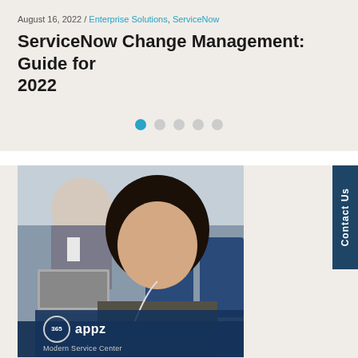August 16, 2022 / Enterprise Solutions, ServiceNow
ServiceNow Change Management: Guide for 2022
[Figure (other): Carousel dot indicators showing 5 dots, first one active (filled blue), rest inactive (gray)]
[Figure (photo): Woman sitting on a train or bus wearing earphones and looking at a phone or tablet. A man in a suit is visible in the background. Below the photo is a dark blue banner with the 365 appz logo and partially visible subtitle text.]